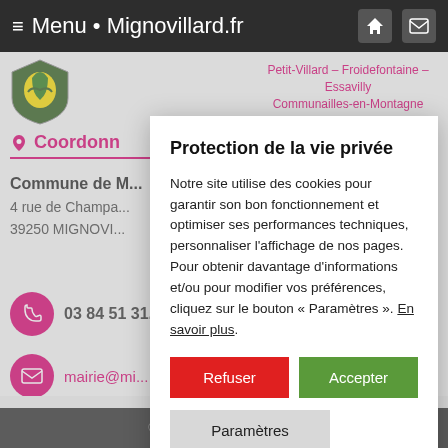≡ Menu • Mignovillard.fr
Petit-Villard – Froidefontaine – Essavilly
Communailles-en-Montagne
Coordonn...
Commune de M...
4 rue de Champa...
39250 MIGNOVI...
03 84 51 31...
mairie@mi...
Protection de la vie privée
Notre site utilise des cookies pour garantir son bon fonctionnement et optimiser ses performances techniques, personnaliser l'affichage de nos pages. Pour obtenir davantage d'informations et/ou pour modifier vos préférences, cliquez sur le bouton « Paramètres ». En savoir plus.
Refuser
Accepter
Paramètres
© Commune de Mignovillard